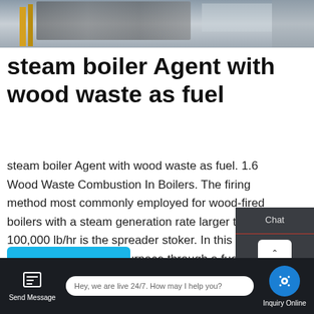[Figure (photo): Industrial boiler equipment photograph, showing machinery and yellow structural elements]
steam boiler Agent with wood waste as fuel
steam boiler Agent with wood waste as fuel. 1.6 Wood Waste Combustion In Boilers. The firing method most commonly employed for wood-fired boilers with a steam generation rate larger than 100,000 lb/hr is the spreader stoker. In this boiler type, wood enters the furnace through a fuel chute and is spread either pneumatically or mechanically
[Figure (screenshot): Learn More button (blue/cyan), HOT NEWS label (blue bold text), WhatsApp icon (green rounded square), Contact us now button (green pill), Chat sidebar with TOP button and Contact label, bottom navigation bar with Send Message, live chat bubble, and Inquiry Online icons]